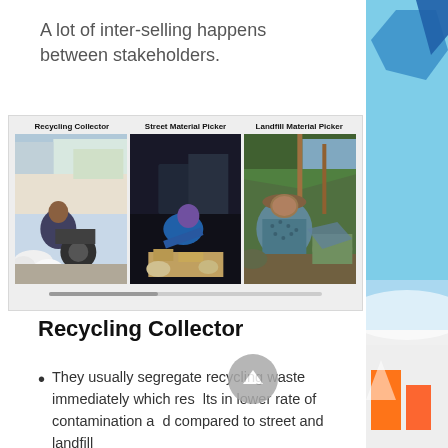A lot of inter-selling happens between stakeholders.
[Figure (photo): Three side-by-side photos labeled 'Recycling Collector', 'Street Material Picker', and 'Landfill Material Picker', showing workers in each respective environment collecting recyclable materials.]
Recycling Collector
They usually segregate recycling waste immediately which results in lower rate of contamination as compared to street and landfill